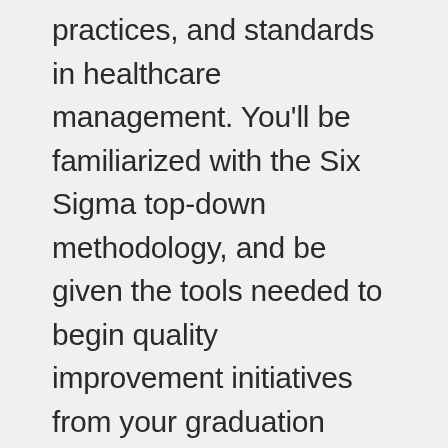practices, and standards in healthcare management. You'll be familiarized with the Six Sigma top-down methodology, and be given the tools needed to begin quality improvement initiatives from your graduation date. In the competitive healthcare arena, employers are looking for motivated individuals that want to improve patient quality as well as help the business run as efficiently as possible. Take the first step to improve your effectiveness as a leader with the